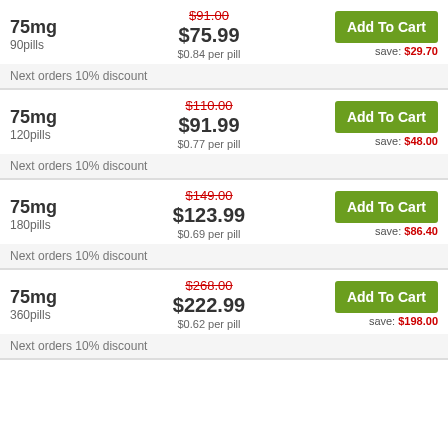| Dosage/Pills | Price | Action |
| --- | --- | --- |
| 75mg / 90pills | $91.00 → $75.99 / $0.84 per pill | Add To Cart / save: $29.70 |
| 75mg / 120pills | $110.00 → $91.99 / $0.77 per pill | Add To Cart / save: $48.00 |
| 75mg / 180pills | $149.00 → $123.99 / $0.69 per pill | Add To Cart / save: $86.40 |
| 75mg / 360pills | $268.00 → $222.99 / $0.62 per pill | Add To Cart / save: $198.00 |
Next orders 10% discount
Next orders 10% discount
Next orders 10% discount
Next orders 10% discount